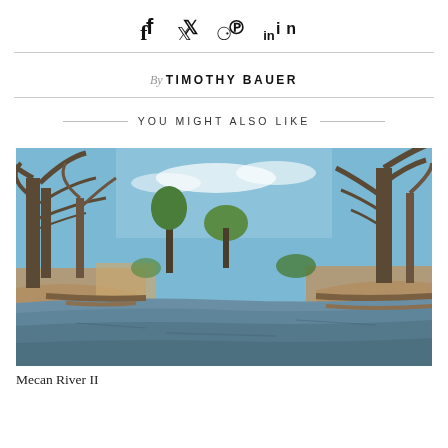f  twitter  pinterest  in
By TIMOTHY BAUER
YOU MIGHT ALSO LIKE
[Figure (photo): A river scene with bare trees on both banks, fallen logs in the water, brown reed grasses, and a blue sky with light clouds overhead. Calm river water reflects the surroundings.]
Mecan River II